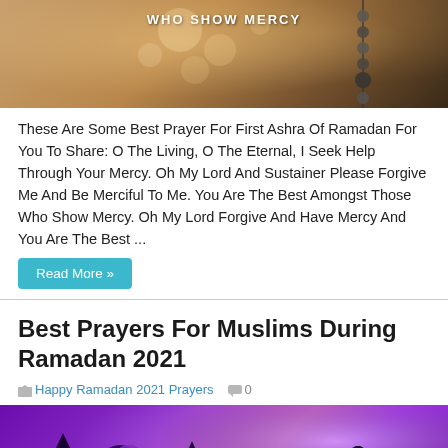[Figure (photo): Top portion of an image with prayer beads/rosary and glowing bokeh lights on a warm brown background, with text 'WHO SHOW MERCY' at top]
These Are Some Best Prayer For First Ashra Of Ramadan For You To Share: O The Living, O The Eternal, I Seek Help Through Your Mercy. Oh My Lord And Sustainer Please Forgive Me And Be Merciful To Me. You Are The Best Amongst Those Who Show Mercy. Oh My Lord Forgive And Have Mercy And You Are The Best ...
Read More »
Best Prayers For Muslims During Ramadan 2021
Happy Ramadan 2021 Prayers  0
[Figure (photo): Silhouette of mosque minarets and domes with crescent moon against a purple/violet sky with a person praying in silhouette on the right side]